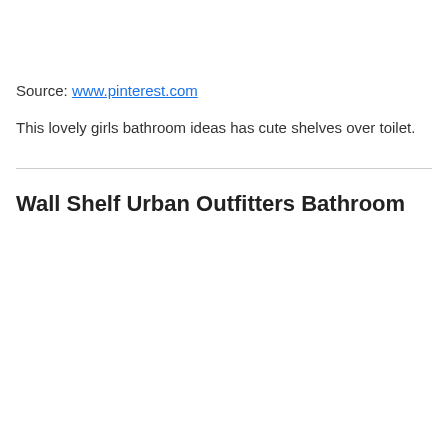Source: www.pinterest.com
This lovely girls bathroom ideas has cute shelves over toilet.
Wall Shelf Urban Outfitters Bathroom